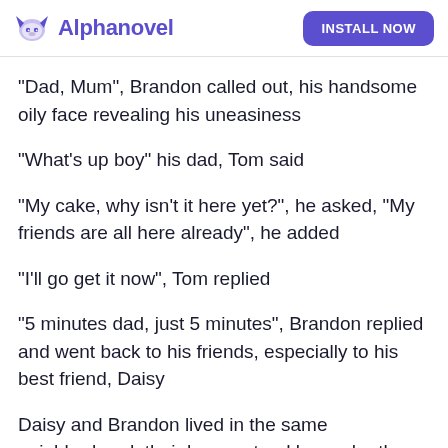Alphanovel | INSTALL NOW
"Dad, Mum", Brandon called out, his handsome oily face revealing his uneasiness
"What's up boy" his dad, Tom said
"My cake, why isn't it here yet?", he asked, "My friends are all here already", he added
"I'll go get it now", Tom replied
"5 minutes dad, just 5 minutes", Brandon replied and went back to his friends, especially to his best friend, Daisy
Daisy and Brandon lived in the same neighborhood, their house stood by each other, they share the